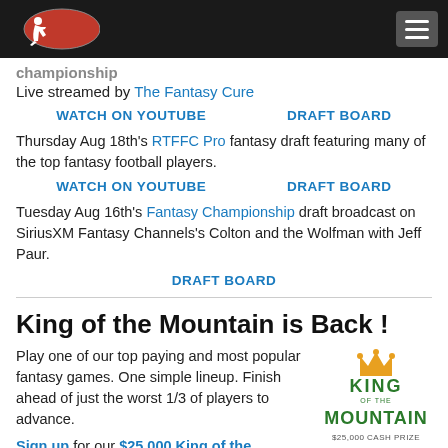Navigation bar with logo and hamburger menu
Championship
Live streamed by The Fantasy Cure
WATCH ON YOUTUBE   DRAFT BOARD
Thursday Aug 18th's RTFFC Pro fantasy draft featuring many of the top fantasy football players.
WATCH ON YOUTUBE   DRAFT BOARD
Tuesday Aug 16th's Fantasy Championship draft broadcast on SiriusXM Fantasy Channels's Colton and the Wolfman with Jeff Paur.
DRAFT BOARD
King of the Mountain is Back !
Play one of our top paying and most popular fantasy games. One simple lineup. Finish ahead of just the worst 1/3 of players to advance.
[Figure (logo): King of the Mountain $25,000 Cash Prize logo in green and gold]
Sign up for our $25,000 King of the Mountain